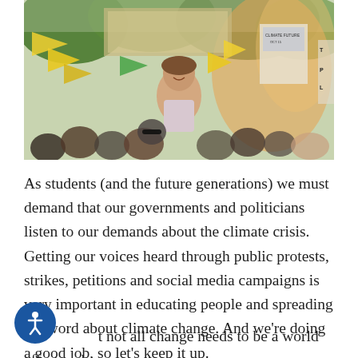[Figure (photo): A young woman smiling at a climate protest, holding a banner, surrounded by crowd with yellow flags and colorful smoke in the background. Signs visible including one that says 'CLIMATE FUTURE'.]
As students (and the future generations) we must demand that our governments and politicians listen to our demands about the climate crisis. Getting our voices heard through public protests, strikes, petitions and social media campaigns is very important in educating people and spreading the word about climate change. And we're doing a good job, so let's keep it up.
t not all change needs to be a world effort and